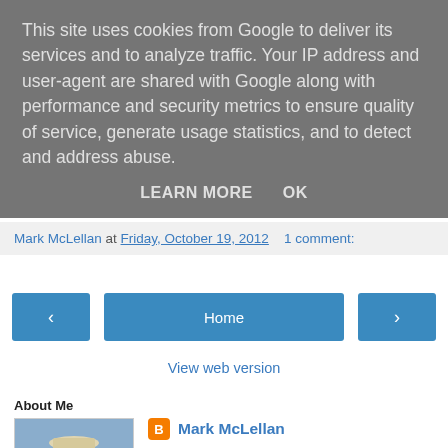This site uses cookies from Google to deliver its services and to analyze traffic. Your IP address and user-agent are shared with Google along with performance and security metrics to ensure quality of service, generate usage statistics, and to detect and address abuse.
LEARN MORE   OK
Mark McLellan at Friday, October 19, 2012   1 comment:
‹   Home   ›
View web version
About Me
Mark McLellan
Sixty-something retired IT consultant living in Penrith, UK and Cisternino, Italy. Married to Mary and enjoying a dinky lifestyle. I do not blog political commentary, my work or my inner emotional life. That